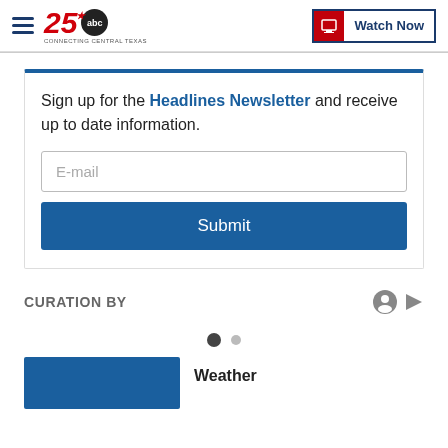KCEN TV – 25 ABC – Connecting Central Texas | Watch Now
Sign up for the Headlines Newsletter and receive up to date information.
E-mail
Submit
CURATION BY
Weather